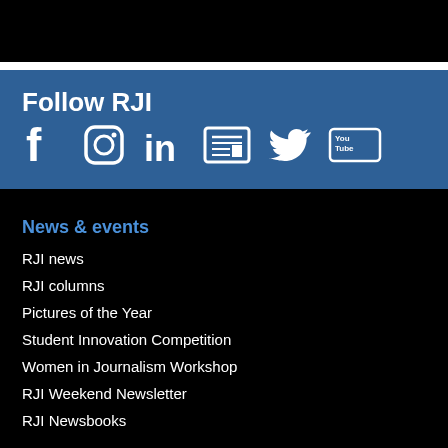[Figure (other): Black image/photo area at top of page]
Follow RJI
[Figure (other): Social media icons: Facebook, Instagram, LinkedIn, Newspaper/RSS, Twitter, YouTube]
News & events
RJI news
RJI columns
Pictures of the Year
Student Innovation Competition
Women in Journalism Workshop
RJI Weekend Newsletter
RJI Newsbooks